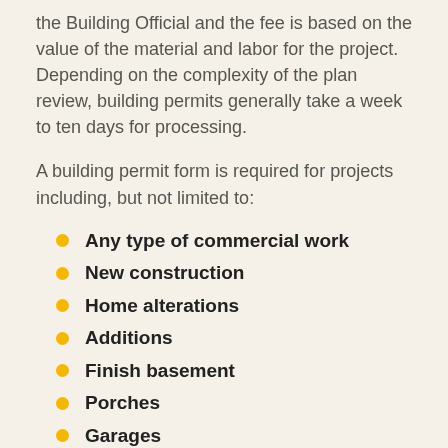the Building Official and the fee is based on the value of the material and labor for the project. Depending on the complexity of the plan review, building permits generally take a week to ten days for processing.
A building permit form is required for projects including, but not limited to:
Any type of commercial work
New construction
Home alterations
Additions
Finish basement
Porches
Garages